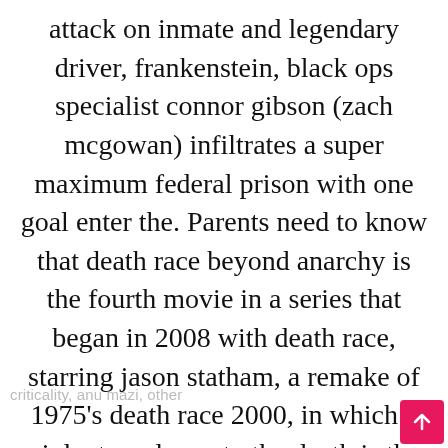attack on inmate and legendary driver, frankenstein, black ops specialist connor gibson (zach mcgowan) infiltrates a super maximum federal prison with one goal enter the. Parents need to know that death race beyond anarchy is the fourth movie in a series that began in 2008 with death race, starring jason statham, a remake of 1975's death race 2000, in which a violent road race to the death is the preeminent entertainment in a dystopian society. in this latest entry, a stoic newcomer to the largest privately run.
[Figure (table-as-image): Partial table showing ratings by gender and race. Columns: ASIAN women, BLACK women, LATINA women, WHITE (truncated). Row: ASIAN men rating... with values 11%, -24%, 9%, and a partially visible column.]